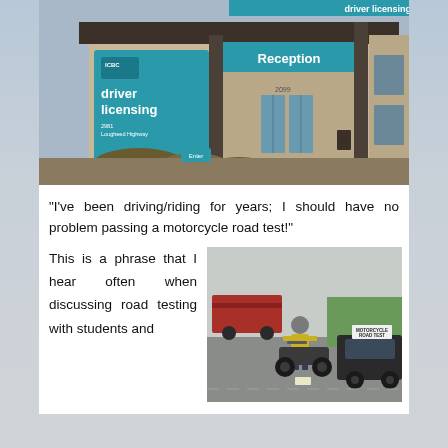[Figure (photo): ICBC driver licensing office building exterior with teal/blue signage showing 'driver licensing', 'Reception' sign, and 'Enter' sign at the entrance.]
“I’ve been driving/riding for years; I should have no problem passing a motorcycle road test!”
This is a phrase that I hear often when discussing road testing with students and
[Figure (photo): Motorcycle road test scene: a motorcyclist wearing a yellow vest and helmet on a motorcycle, with a car behind it bearing a 'MOTORCYCLE ROAD TEST' sign on the roof.]